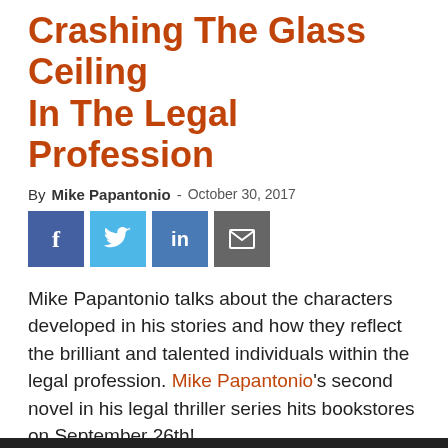Crashing The Glass Ceiling In The Legal Profession
By Mike Papantonio - October 30, 2017
[Figure (infographic): Social media sharing buttons: Facebook (blue), Twitter (light blue), LinkedIn (blue), Email (grey)]
Mike Papantonio talks about the characters developed in his stories and how they reflect the brilliant and talented individuals within the legal profession. Mike Papantonio's second novel in his legal thriller series hits bookstores on September 26th!
To order a copy now, click here:
LawAndVengeance.com